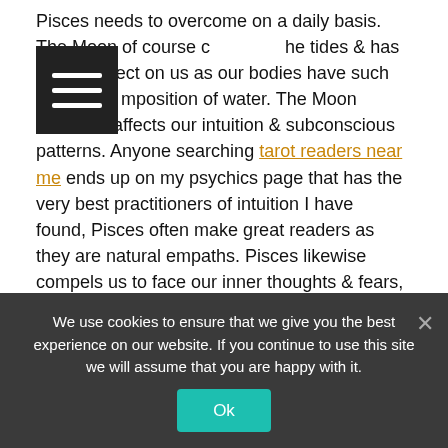Pisces needs to overcome on a daily basis. The Moon of course controls the tides & has a huge effect on us as our bodies have such a high composition of water. The Moon therefore affects our intuition & subconscious patterns. Anyone searching tarot readers near me ends up on my psychics page that has the very best practitioners of intuition I have found, Pisces often make great readers as they are natural empaths. Pisces likewise compels us to face our inner thoughts & fears, to triumph over negativity or fear, reach for our dreams & release our true potential.
Pisces
If you're a Pisces, you probably have a lot of friends, as you have an accepting and malleable nature that makes it easy for other people to be around you. A Pisces is more likely to go with the flow rather
We use cookies to ensure that we give you the best experience on our website. If you continue to use this site we will assume that you are happy with it.